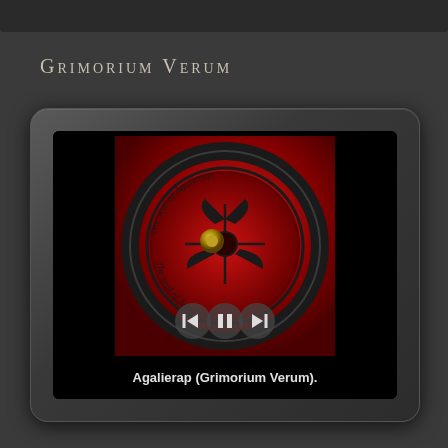Grimorium Verum
[Figure (screenshot): A tablet/media player UI showing album art for Agalierap (Grimorium Verum). The album art features a circular dark metallic design on a red background with a demonic/occult symbol in the center, and text reading 'The seal of Agalierap' around the ring. Below the album art are playback controls (previous, pause, next buttons). At the bottom of the screen the track title reads 'Agalierap (Grimorium Verum).']
Agalierap (Grimorium Verum).